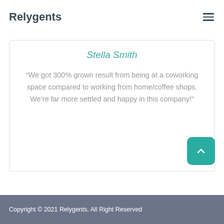Relygents
Stella Smith
“We got 300% grown result from being at a coworking space compared to working from home/coffee shops. We’re far more settled and happy in this company!”
Copyright © 2021 Relygents. All Right Reserved